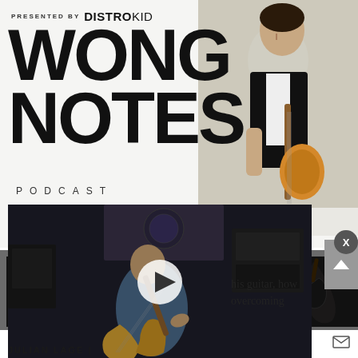PRESENTED BY DISTROKID
WONG NOTES PODCAST
[Figure (screenshot): Video thumbnail of a musician playing an electric guitar in front of amplifiers, with a play button overlay. Behind it, a host photo of a man playing acoustic guitar.]
his guitar, how overcoming
[Figure (infographic): Advertisement: A RECTO LIKE NO OTHER — THE BADLANDER SERIES. LEARN MORE button. MESA/BOOGIE logo. Image of a guitar amplifier head unit.]
JULIAN LAGE |